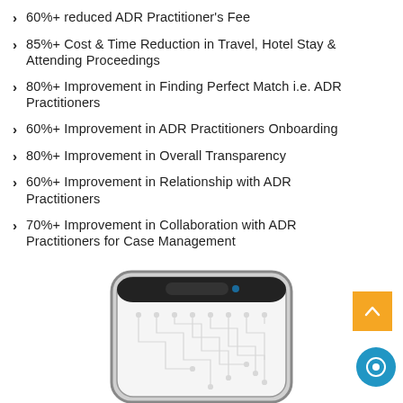60%+ reduced ADR Practitioner's Fee
85%+ Cost & Time Reduction in Travel, Hotel Stay & Attending Proceedings
80%+ Improvement in Finding Perfect Match i.e. ADR Practitioners
60%+ Improvement in ADR Practitioners Onboarding
80%+ Improvement in Overall Transparency
60%+ Improvement in Relationship with ADR Practitioners
70%+ Improvement in Collaboration with ADR Practitioners for Case Management
[Figure (illustration): A smartphone (iPhone X style) showing a circuit board pattern on screen, positioned at bottom center of page.]